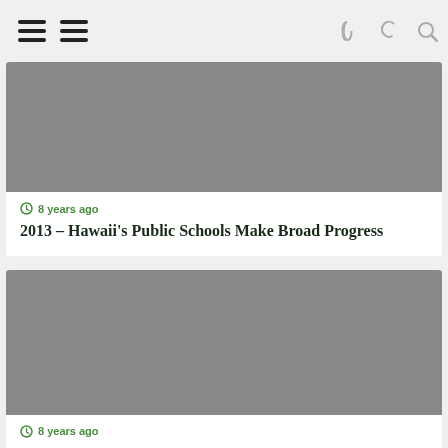Navigation header with hamburger menus, moon icon, and search icon
[Figure (photo): Gray placeholder image for article 1]
8 years ago
2013 – Hawaii's Public Schools Make Broad Progress
[Figure (photo): Gray placeholder image for article 2]
8 years ago